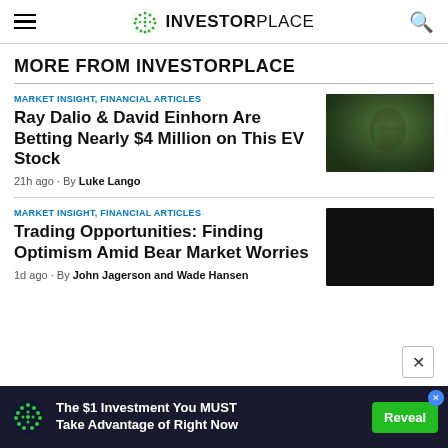INVESTORPLACE
MORE FROM INVESTORPLACE
MARKET INSIGHT, FINANCIAL ARTICLES
Ray Dalio & David Einhorn Are Betting Nearly $4 Million on This EV Stock
21h ago · By Luke Lango
[Figure (photo): Electric vehicle charging station close-up, dark green tones]
MARKET INSIGHT, FINANCIAL ARTICLES
Trading Opportunities: Finding Optimism Amid Bear Market Worries
1d ago · By John Jagerson and Wade Hansen
[Figure (photo): Dark/black image placeholder]
[Figure (infographic): Advertisement banner: The $1 Investment You MUST Take Advantage of Right Now — Reveal button]